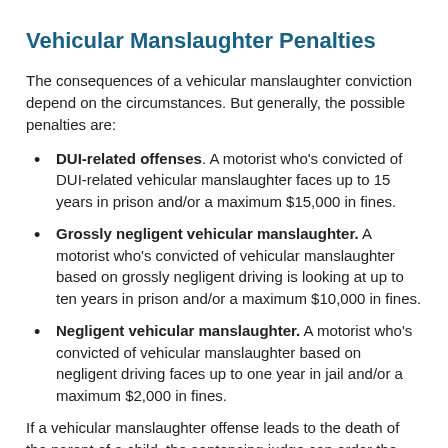Vehicular Manslaughter Penalties
The consequences of a vehicular manslaughter conviction depend on the circumstances. But generally, the possible penalties are:
DUI-related offenses. A motorist who's convicted of DUI-related vehicular manslaughter faces up to 15 years in prison and/or a maximum $15,000 in fines.
Grossly negligent vehicular manslaughter. A motorist who's convicted of vehicular manslaughter based on grossly negligent driving is looking at up to ten years in prison and/or a maximum $10,000 in fines.
Negligent vehicular manslaughter. A motorist who's convicted of vehicular manslaughter based on negligent driving faces up to one year in jail and/or a maximum $2,000 in fines.
If a vehicular manslaughter offense leads to the death of the parent of a child, the sentencing judge can order the